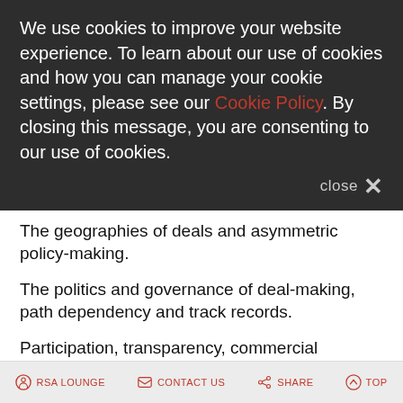We use cookies to improve your website experience. To learn about our use of cookies and how you can manage your cookie settings, please see our Cookie Policy. By closing this message, you are consenting to our use of cookies.
The geographies of deals and asymmetric policy-making.
The politics and governance of deal-making, path dependency and track records.
Participation, transparency, commercial confidentiality, scrutiny and accountability of deal-making.
The role of independent oversight and de facto regulators.
The capacities of actors, information and power asymmetries, and intergovernmental and inter-organisational relations.
RSA LOUNGE   CONTACT US   SHARE   TOP